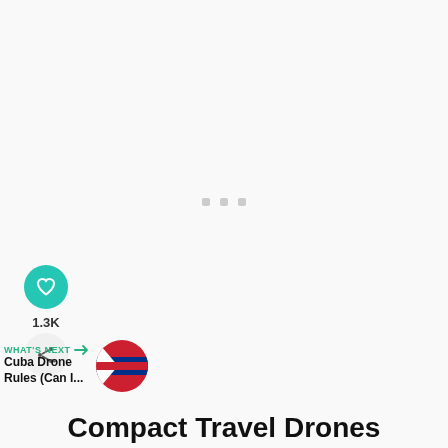[Figure (screenshot): Light gray content loading area with three small square dots centered, indicating a loading/placeholder state for embedded video or media content]
[Figure (infographic): Social interaction buttons: teal heart/like button, 1.3K count label, and gray share button with plus icon, positioned on the left side]
WHAT'S NEXT → Cuba Drone Rules (Can I...
[Figure (photo): Small circular thumbnail image showing Cuba flag, used as next article preview]
Compact Travel Drones